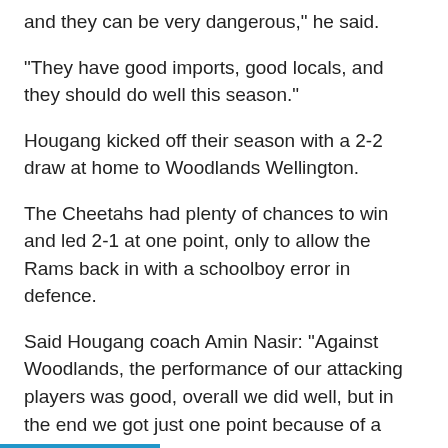and they can be very dangerous," he said.
"They have good imports, good locals, and they should do well this season."
Hougang kicked off their season with a 2-2 draw at home to Woodlands Wellington.
The Cheetahs had plenty of chances to win and led 2-1 at one point, only to allow the Rams back in with a schoolboy error in defence.
Said Hougang coach Amin Nasir: "Against Woodlands, the performance of our attacking players was good, overall we did well, but in the end we got just one point because of a defensive lapse.
"It's nice to hear those kind words from the Tanjong